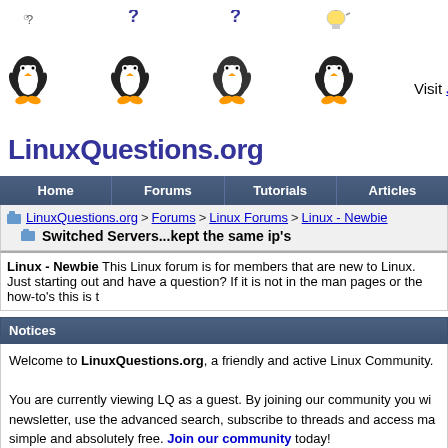[Figure (logo): LinuxQuestions.org logo with four Tux penguins and question marks]
Visit Jeremy's Blog.
Home | Forums | Tutorials | Articles
LinuxQuestions.org > Forums > Linux Forums > Linux - Newbie
Switched Servers...kept the same ip's
Linux - Newbie This Linux forum is for members that are new to Linux. Just starting out and have a question? If it is not in the man pages or the how-to's this is t
Notices
Welcome to LinuxQuestions.org, a friendly and active Linux Community. You are currently viewing LQ as a guest. By joining our community you wi newsletter, use the advanced search, subscribe to threads and access ma simple and absolutely free. Join our community today!